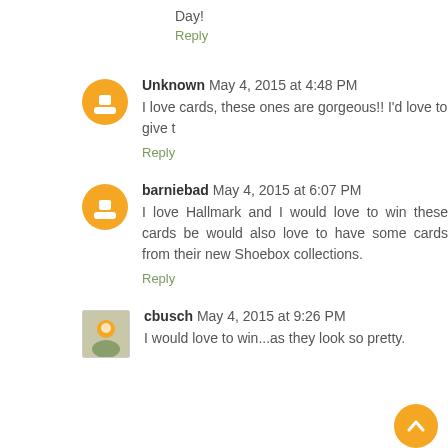Day!
Reply
Unknown May 4, 2015 at 4:48 PM
I love cards, these ones are gorgeous!! I'd love to give t
Reply
barniebad May 4, 2015 at 6:07 PM
I love Hallmark and I would love to win these cards be would also love to have some cards from their new Shoebox collections.
Reply
cbusch May 4, 2015 at 9:26 PM
I would love to win...as they look so pretty.